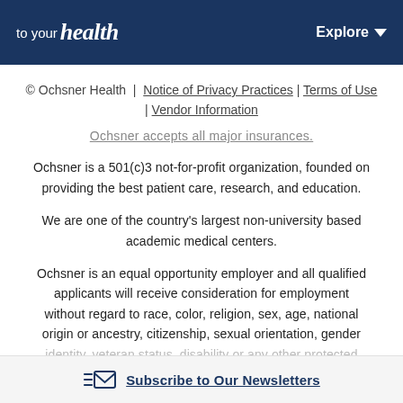to your health | Explore
© Ochsner Health | Notice of Privacy Practices | Terms of Use | Vendor Information
Ochsner accepts all major insurances.
Ochsner is a 501(c)3 not-for-profit organization, founded on providing the best patient care, research, and education.
We are one of the country's largest non-university based academic medical centers.
Ochsner is an equal opportunity employer and all qualified applicants will receive consideration for employment without regard to race, color, religion, sex, age, national origin or ancestry, citizenship, sexual orientation, gender identity, veteran status, disability or any other protected
Subscribe to Our Newsletters